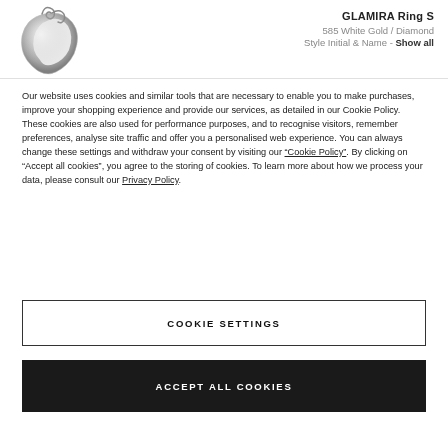[Figure (photo): Silver ring with decorative swirl/initial design, shown at an angle against a white background]
GLAMIRA Ring S
585 White Gold / Diamond
Style Initial & Name - Show all
Our website uses cookies and similar tools that are necessary to enable you to make purchases, improve your shopping experience and provide our services, as detailed in our Cookie Policy. These cookies are also used for performance purposes, and to recognise visitors, remember preferences, analyse site traffic and offer you a personalised web experience. You can always change these settings and withdraw your consent by visiting our “Cookie Policy”. By clicking on “Accept all cookies”, you agree to the storing of cookies. To learn more about how we process your data, please consult our Privacy Policy.
COOKIE SETTINGS
ACCEPT ALL COOKIES